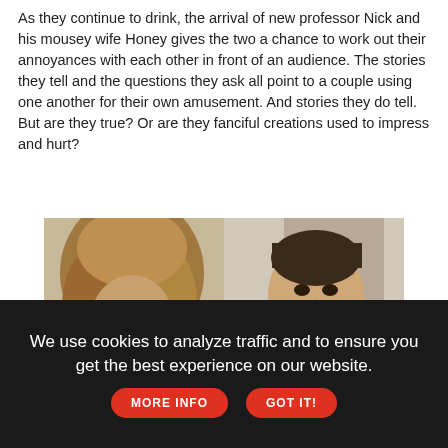As they continue to drink, the arrival of new professor Nick and his mousey wife Honey gives the two a chance to work out their annoyances with each other in front of an audience. The stories they tell and the questions they ask all point to a couple using one another for their own amusement. And stories they do tell. But are they true? Or are they fanciful creations used to impress and hurt?
[Figure (infographic): Advertisement image showing two people (a drag queen and a man) above LGBTQ Nation branding: 'Authentic Voices of Pride: LGBTQ Small Town Life' sponsored by Chevrolet.]
We use cookies to analyze traffic and to ensure you get the best experience on our website. MORE INFO  GOT IT!